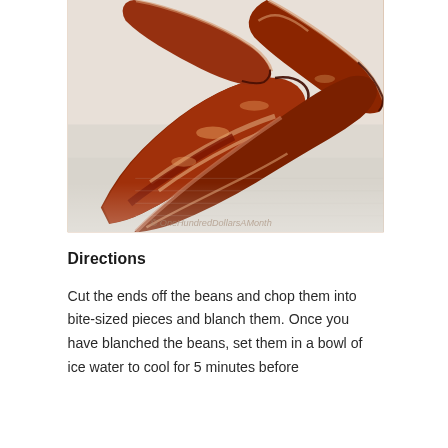[Figure (photo): Close-up photo of cooked crispy bacon strips laid on a white paper towel. The bacon is golden-brown and reddish with a watermark reading 'OneHundredDollarsAMonth' at the bottom.]
Directions
Cut the ends off the beans and chop them into bite-sized pieces and blanch them. Once you have blanched the beans, set them in a bowl of ice water to cool for 5 minutes before